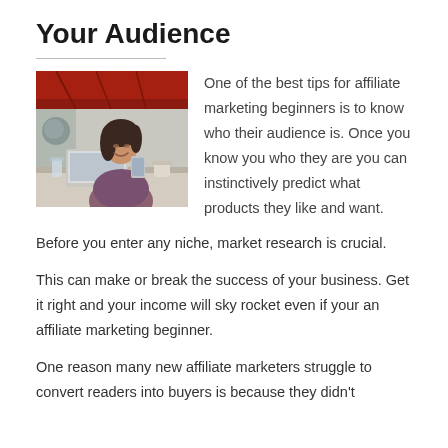Your Audience
[Figure (photo): Young woman sitting at a cafe table with a laptop, looking at her phone and smiling. Background shows a cafe interior with red ceiling.]
One of the best tips for affiliate marketing beginners is to know who their audience is. Once you know you who they are you can instinctively predict what products they like and want.
Before you enter any niche, market research is crucial.
This can make or break the success of your business. Get it right and your income will sky rocket even if your an affiliate marketing beginner.
One reason many new affiliate marketers struggle to convert readers into buyers is because they didn't